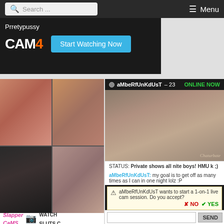Search ... Menu
[Figure (screenshot): CAM4 banner with username Prretypussy and Start Watching Now button]
[Figure (screenshot): Grid of four photos on left side]
[Figure (screenshot): Chaturbate cam widget showing aMbeRfUnKdUsT - 23 ONLINE NOW with video and chat]
STATUS: Private shows all nite boys! HMU k ;)
aMbeRfUnKdUsT: my goal is to get off as many times as I can in one night lolz :P
aMbeRfUnKdUsT wants to start a 1-on-1 live cam session. Do you accept? NO YES
Slapper Cams WATCH SLUTS